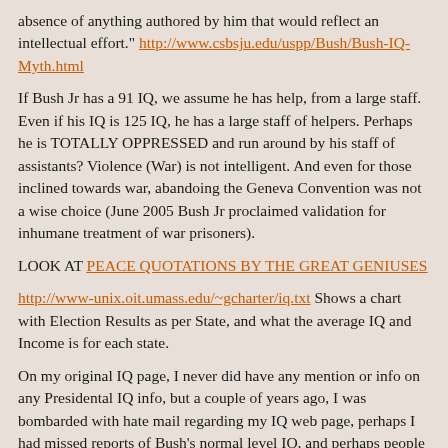absence of anything authored by him that would reflect an intellectual effort." http://www.csbsju.edu/uspp/Bush/Bush-IQ-Myth.html
If Bush Jr has a 91 IQ, we assume he has help, from a large staff. Even if his IQ is 125 IQ, he has a large staff of helpers. Perhaps he is TOTALLY OPPRESSED and run around by his staff of assistants? Violence (War) is not intelligent. And even for those inclined towards war, abandoing the Geneva Convention was not a wise choice (June 2005 Bush Jr proclaimed validation for inhumane treatment of war prisoners).
LOOK AT PEACE QUOTATIONS BY THE GREAT GENIUSES
http://www-unix.oit.umass.edu/~gcharter/iq.txt Shows a chart with Election Results as per State, and what the average IQ and Income is for each state.
On my original IQ page, I never did have any mention or info on any Presidental IQ info, but a couple of years ago, I was bombarded with hate mail regarding my IQ web page, perhaps I had missed reports of Bush's normal level IQ, and perhaps people mistakenly thought my IQ page was aimed at Bush Jr, it wasn't, I was just seeking work. I have a thing in my astrological chart, which hides my high IQ (Thomas Jefferson had the same thing, the